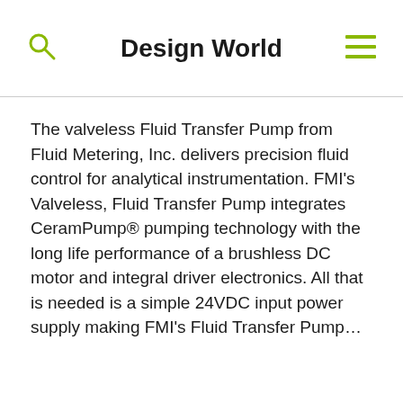Design World
The valveless Fluid Transfer Pump from Fluid Metering, Inc. delivers precision fluid control for analytical instrumentation. FMI’s Valveless, Fluid Transfer Pump integrates CeramPump® pumping technology with the long life performance of a brushless DC motor and integral driver electronics. All that is needed is a simple 24VDC input power supply making FMI’s Fluid Transfer Pump…